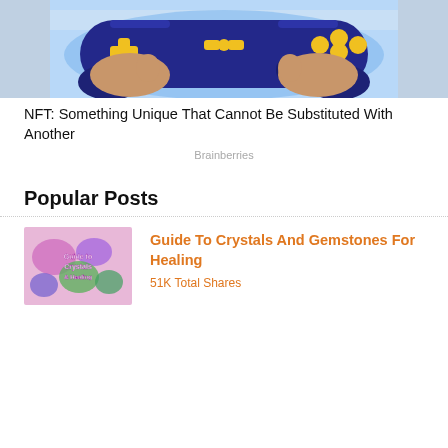[Figure (illustration): Anime-style illustration of two hands holding a blue game controller with gold buttons against a bright blue background]
NFT: Something Unique That Cannot Be Substituted With Another
Brainberries
Popular Posts
[Figure (photo): Thumbnail image for Guide to Crystals and Gemstones for Healing article, showing colorful crystals and text]
Guide To Crystals And Gemstones For Healing
51K Total Shares